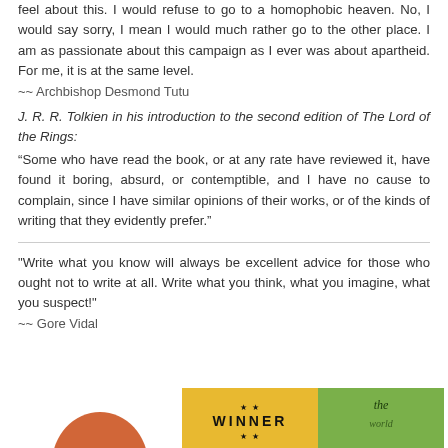feel about this. I would refuse to go to a homophobic heaven. No, I would say sorry, I mean I would much rather go to the other place. I am as passionate about this campaign as I ever was about apartheid. For me, it is at the same level.
~~ Archbishop Desmond Tutu
J. R. R. Tolkien in his introduction to the second edition of The Lord of the Rings:
“Some who have read the book, or at any rate have reviewed it, have found it boring, absurd, or contemptible, and I have no cause to complain, since I have similar opinions of their works, or of the kinds of writing that they evidently prefer.”
"Write what you know will always be excellent advice for those who ought not to write at all. Write what you think, what you imagine, what you suspect!"
~~ Gore Vidal
[Figure (other): Bottom row of book covers partially visible: an orange/red circular shape on the left, a yellow cover with WINNER text and stars in the center, and a green cover with handwritten italic text on the right.]